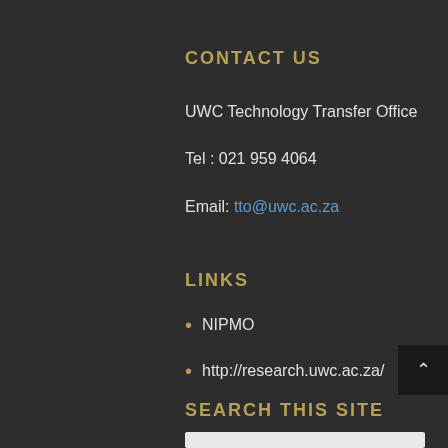CONTACT US
UWC Technology Transfer Office
Tel : 021 959 4064
Email: tto@uwc.ac.za
LINKS
NIPMO
http://research.uwc.ac.za/
SEARCH THIS SITE